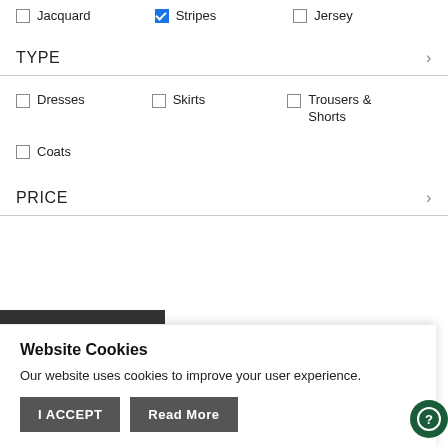Jacquard (unchecked), Stripes (checked), Jersey (unchecked)
TYPE
Dresses (unchecked), Skirts (unchecked), Trousers & Shorts (unchecked)
Coats (unchecked)
PRICE
Website Cookies
Our website uses cookies to improve your user experience.
I ACCEPT   Read More